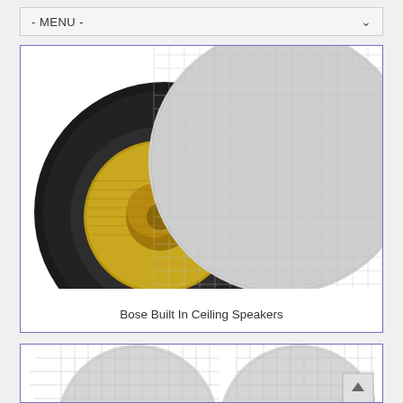- MENU -
[Figure (photo): Ceiling speaker shown from below with gold woofer cone visible on left and round gray fabric grille cover on right, against white background]
Bose Built In Ceiling Speakers
[Figure (photo): Two white round ceiling speakers with fabric grilles shown side by side, partially cropped at bottom of page]